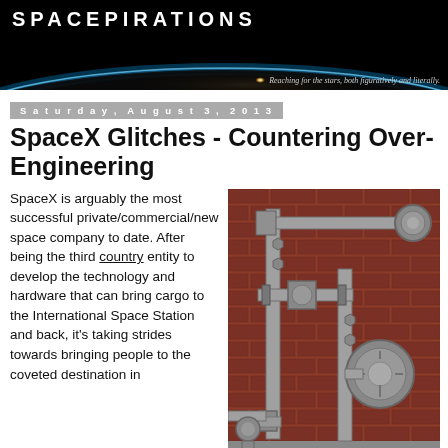SPACEPIRATIONS — Reaching for the stars, both figuratively and literally.
Saturday, August 3, 2013
SpaceX Glitches - Countering Over-Engineering
SpaceX is arguably the most successful private/commercial/new space company to date. After being the third country entity to develop the technology and hardware that can bring cargo to the International Space Station and back, it's taking strides towards bringing people to the coveted destination in
[Figure (photo): Industrial pipes and valves mounted on a red brick wall, painted grey]